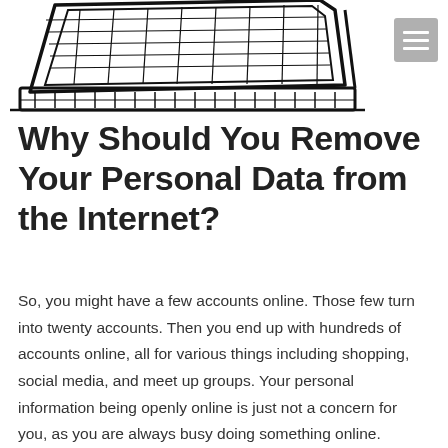[Figure (illustration): Partial black-and-white line illustration of a laptop computer, showing the top portion of the screen and keyboard, cropped at the top of the page.]
Why Should You Remove Your Personal Data from the Internet?
So, you might have a few accounts online. Those few turn into twenty accounts. Then you end up with hundreds of accounts online, all for various things including shopping, social media, and meet up groups. Your personal information being openly online is just not a concern for you, as you are always busy doing something online.
However, it should be a concern. All these websites you